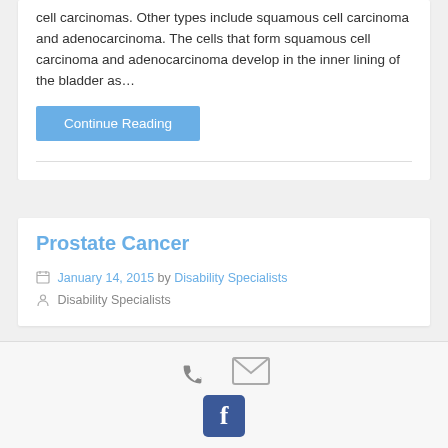cell carcinomas. Other types include squamous cell carcinoma and adenocarcinoma. The cells that form squamous cell carcinoma and adenocarcinoma develop in the inner lining of the bladder as…
Continue Reading
Prostate Cancer
January 14, 2015 by Disability Specialists Disability Specialists
[Figure (other): Footer bar with phone icon, email envelope icon, and Facebook icon button]